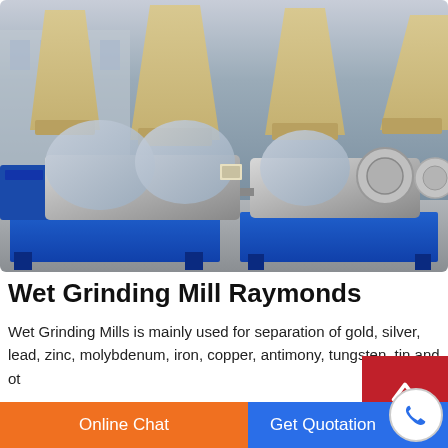[Figure (photo): Industrial wet grinding mill machines wrapped in plastic protective covering, mounted on blue steel bases, with large cone-shaped crushers visible in the background at a factory or staging area.]
Wet Grinding Mill Raymonds
Wet Grinding Mills is mainly used for separation of gold, silver, lead, zinc, molybdenum, iron, copper, antimony, tungsten, tin and other minerals. saving power, sturdiness and durability, ease of maintenance and
Online Chat
Get Quotation